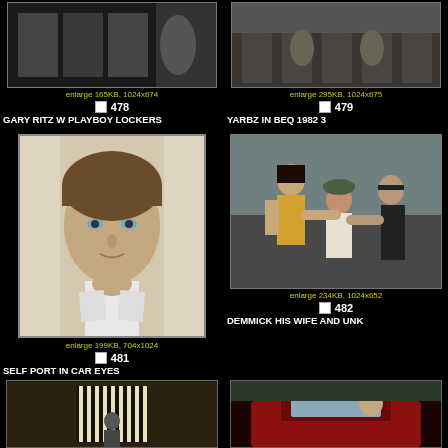[Figure (photo): Photo of Gary Ritz with Playboy lockers, top left]
enlarge 165KB, 1024x674
478
GARY RITZ W PLAYBOY LOCKERS
[Figure (photo): Yarbz in BEQ 1982, top right, interior with chairs]
enlarge 295KB, 1024x675
479
YARBZ IN BEQ 1982 3
[Figure (photo): Self portrait close-up face with blue eyes, middle left]
enlarge 199KB, 704x1024
481
SELF PORT IN CAR EYES
[Figure (photo): Demmick his wife and unknown person crouching outdoors, middle right]
enlarge 234KB, 1024x652
482
DEMMICK HIS WIFE AND UNK
[Figure (photo): Bottom left photo, indoor scene with light bars]
[Figure (photo): Bottom right photo, person in red car]